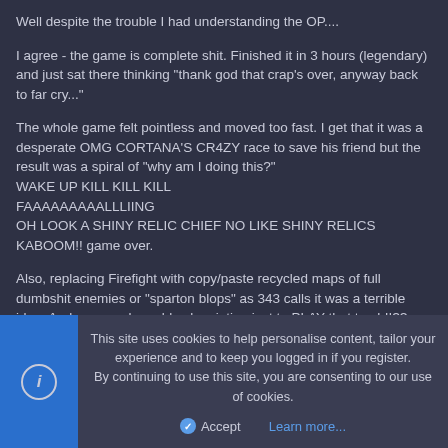Well despite the trouble I had understanding the OP....
I agree - the game is complete shit. Finished it in 3 hours (legendary) and just sat there thinking "thank god that crap's over, anyway back to far cry..."
The whole game felt pointless and moved too fast. I get that it was a desperate OMG CORTANA'S CR4ZY race to save his friend but the result was a spiral of "why am I doing this?"
WAKE UP KILL KILL KILL
FAAAAAAAALLLIING
OH LOOK A SHINY RELIC CHIEF NO LIKE SHINY RELICS KABOOM!! game over.
Also, replacing Firefight with copy/paste recycled maps of full dumbshit enemies or "sparton blops" as 343 calls it was a terrible idea. And you need a gold subscription just to PLAY that trash!!?? Getting ahead of yourselves 343.
This site uses cookies to help personalise content, tailor your experience and to keep you logged in if you register.
By continuing to use this site, you are consenting to our use of cookies.
Accept
Learn more...